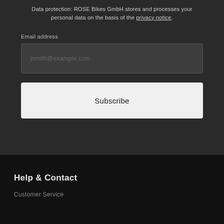Data protection: ROSE Bikes GmbH stores and processes your personal data on the basis of the privacy notice.
Email address
jsmith@example.com
Subscribe
Help & Contact
Customer Service